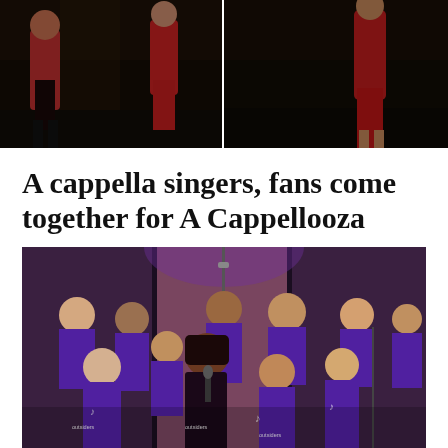[Figure (photo): Top strip showing two performance photos side by side: left photo shows performers on stage with dark background, right photo shows a performer in a red dress on stage]
A cappella singers, fans come together for A Cappellooza
[Figure (photo): Group photo of a cappella singers on stage, all wearing purple 'Outsiders' t-shirts with a treble clef logo, center performer singing into microphone]